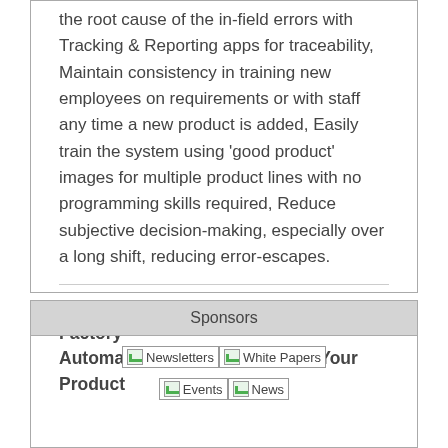the root cause of the in-field errors with Tracking & Reporting apps for traceability, Maintain consistency in training new employees on requirements or with staff any time a new product is added, Easily train the system using 'good product' images for multiple product lines with no programming skills required, Reduce subjective decision-making, especially over a long shift, reducing error-escapes.
More Advanced Manufacturing and Factory Automation Products | Feature Your Product
Sponsors
[Figure (other): Two broken image placeholders labeled Newsletters and White Papers side by side, followed by Events and News placeholders]